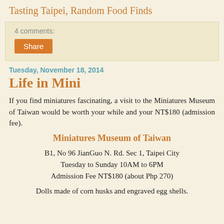Tasting Taipei, Random Food Finds
4 comments:
Share
Tuesday, November 18, 2014
Life in Mini
If you find miniatures fascinating, a visit to the Miniatures Museum of Taiwan would be worth your while and your NT$180 (admission fee).
Miniatures Museum of Taiwan
B1, No 96 JianGuo N. Rd. Sec 1, Taipei City
Tuesday to Sunday 10AM to 6PM
Admission Fee NT$180 (about Php 270)
Dolls made of corn husks and engraved egg shells.